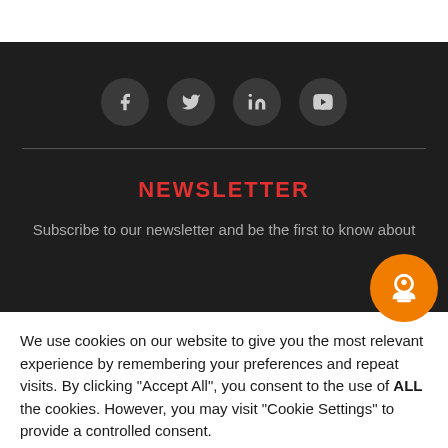[Figure (infographic): Social media icon buttons: Facebook, Twitter, LinkedIn, YouTube — dark circular icons on dark background]
NEWSLETTER
Subscribe to our newsletter and be the first to know about
We use cookies on our website to give you the most relevant experience by remembering your preferences and repeat visits. By clicking “Accept All”, you consent to the use of ALL the cookies. However, you may visit "Cookie Settings" to provide a controlled consent.
Cookie Settings
Accept All